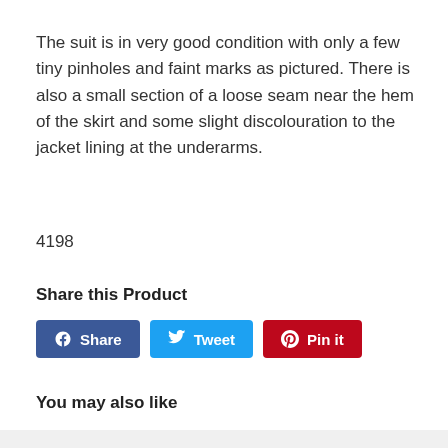The suit is in very good condition with only a few tiny pinholes and faint marks as pictured. There is also a small section of a loose seam near the hem of the skirt and some slight discolouration to the jacket lining at the underarms.
4198
Share this Product
[Figure (infographic): Three social sharing buttons: Facebook Share (blue), Twitter Tweet (light blue), Pinterest Pin it (red)]
You may also like